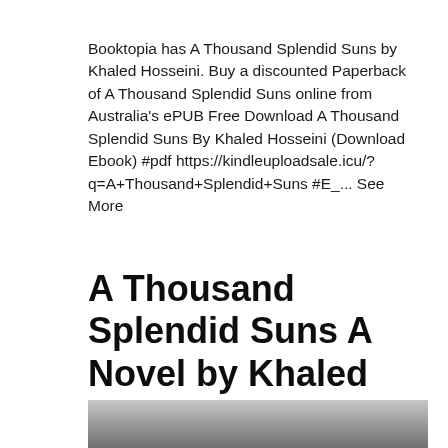Booktopia has A Thousand Splendid Suns by Khaled Hosseini. Buy a discounted Paperback of A Thousand Splendid Suns online from Australia's ePUB Free Download A Thousand Splendid Suns By Khaled Hosseini (Download Ebook) #pdf https://kindleuploadsale.icu/?q=A+Thousand+Splendid+Suns #E_... See More
A Thousand Splendid Suns A Novel by Khaled Hosseini
[Figure (photo): Partial photo visible at bottom of page, appears to show a person]